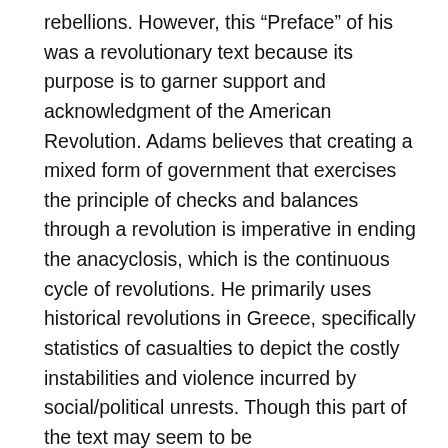rebellions. However, this “Preface” of his was a revolutionary text because its purpose is to garner support and acknowledgment of the American Revolution. Adams believes that creating a mixed form of government that exercises the principle of checks and balances through a revolution is imperative in ending the anacyclosis, which is the continuous cycle of revolutions. He primarily uses historical revolutions in Greece, specifically statistics of casualties to depict the costly instabilities and violence incurred by social/political unrests. Though this part of the text may seem to be counterrevolutionary, it serves his goal of justifying the American Revolution. By pointing out even in the most polished years in Greece more than 60 massacres took place, Adams showcases the urgency for finding a long-term solution, which is creating a republic that gives people representation, has an independent legislature, executive, and judiciary, and contains three separate